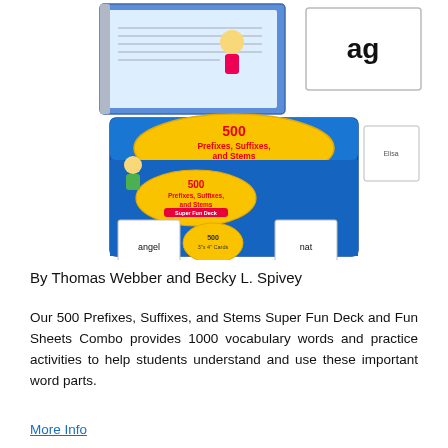[Figure (photo): Product photo showing '500 Prefixes, Suffixes, and Stems Super Fun Deck' educational card game box in blue with yellow oval logo, flash cards including ones labeled 'angel' and 'nat', a spiral-bound Fun Sheets book, and a card showing 'ag'.]
By Thomas Webber and Becky L. Spivey
Our 500 Prefixes, Suffixes, and Stems Super Fun Deck and Fun Sheets Combo provides 1000 vocabulary words and practice activities to help students understand and use these important word parts.
More Info